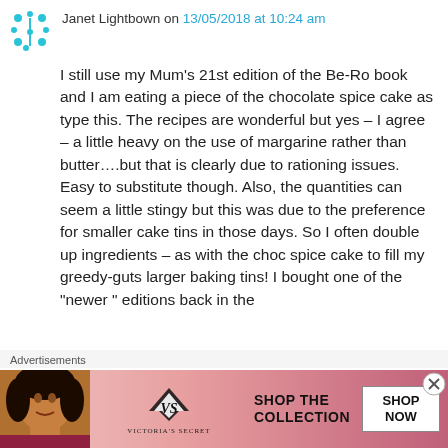Janet Lightbown on 13/05/2018 at 10:24 am
I still use my Mum’s 21st edition of the Be-Ro book and I am eating a piece of the chocolate spice cake as type this. The recipes are wonderful but yes – I agree – a little heavy on the use of margarine rather than butter….but that is clearly due to rationing issues. Easy to substitute though. Also, the quantities can seem a little stingy but this was due to the preference for smaller cake tins in those days. So I often double up ingredients – as with the choc spice cake to fill my greedy-guts larger baking tins! I bought one of the “newer ” editions back in the
Advertisements
[Figure (photo): Victoria's Secret advertisement banner showing a woman with curly hair, VS logo, text 'SHOP THE COLLECTION', and a 'SHOP NOW' button]